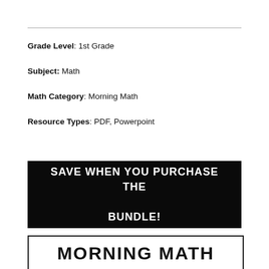Grade Level: 1st Grade
Subject: Math
Math Category: Morning Math
Resource Types: PDF, Powerpoint
SAVE WHEN YOU PURCHASE THE BUNDLE!
[Figure (illustration): Morning Math logo text displayed in bold black letters on white background with border]